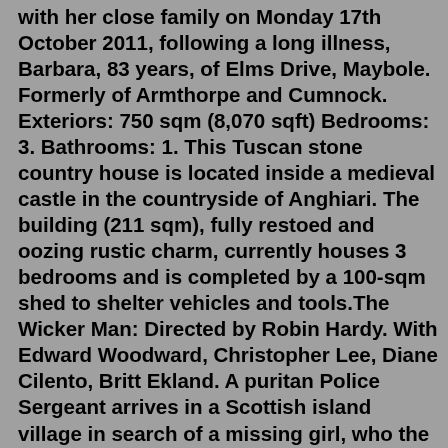with her close family on Monday 17th October 2011, following a long illness, Barbara, 83 years, of Elms Drive, Maybole. Formerly of Armthorpe and Cumnock. Exteriors: 750 sqm (8,070 sqft) Bedrooms: 3. Bathrooms: 1. This Tuscan stone country house is located inside a medieval castle in the countryside of Anghiari. The building (211 sqm), fully restoed and oozing rustic charm, currently houses 3 bedrooms and is completed by a 100-sqm shed to shelter vehicles and tools.The Wicker Man: Directed by Robin Hardy. With Edward Woodward, Christopher Lee, Diane Cilento, Britt Ekland. A puritan Police Sergeant arrives in a Scottish island village in search of a missing girl, who the Pagan locals claim never existed.J Ian Gillies are a firm of solicitors based in Maybole, Ayrshire. To contact J Ian Gillies, please call their phone number on 01655889460. Address is as follows: J Ian Gillies, 48 Cassillis Road, Maybole, Ayrshire, KA19 7HF.newsmax directv schedule valley morning star obituaries 2022. divorce while pregnant texas: scottish murders in the 1990s: west virginia